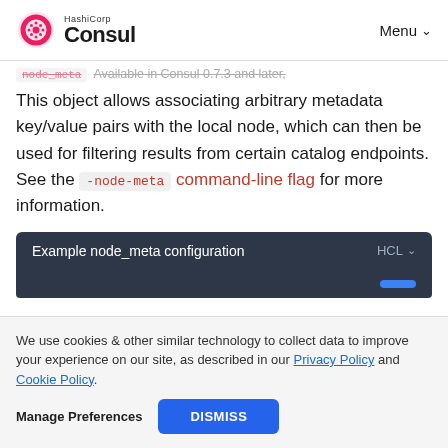HashiCorp Consul | Menu
node_meta - Available in Consul 0.7.3 and later,
This object allows associating arbitrary metadata key/value pairs with the local node, which can then be used for filtering results from certain catalog endpoints. See the -node-meta command-line flag for more information.
[Figure (screenshot): Dark code block header showing 'Example node_meta configuration' with HCL dropdown and a blue copy button]
We use cookies & other similar technology to collect data to improve your experience on our site, as described in our Privacy Policy and Cookie Policy.
Manage Preferences | DISMISS